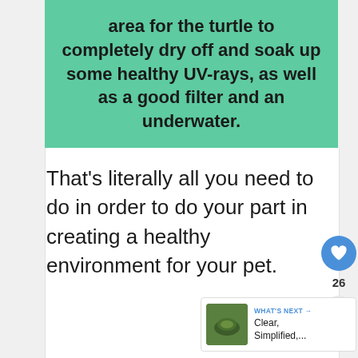area for the turtle to completely dry off and soak up some healthy UV-rays, as well as a good filter and an underwater.
That's literally all you need to do in order to do your part in creating a healthy environment for your pet.